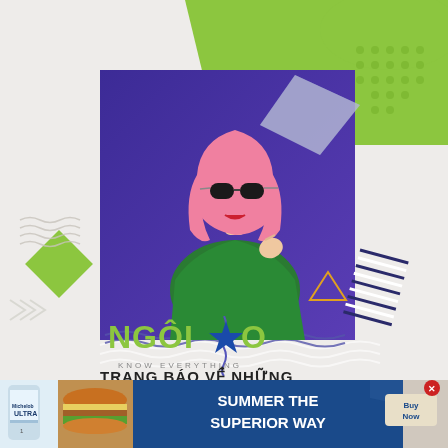[Figure (illustration): Colorful promotional graphic for Ngôi Sao website featuring a woman with pink hair and sunglasses wearing a green top, posed against a purple background with green lime decorative shapes, chevrons, wavy lines, striped patterns, and geometric elements. The NGÔi SAO logo with a blue star is shown below the image, with Vietnamese text 'TRANG BÁO VỀ NHỮNG' at the bottom.]
[Figure (illustration): Advertisement banner at the bottom: Michelob Ultra beer can on left, burger photo, blue background with text 'SUMMER THE SUPERIOR WAY', and a 'Buy Now' button with a red X close button.]